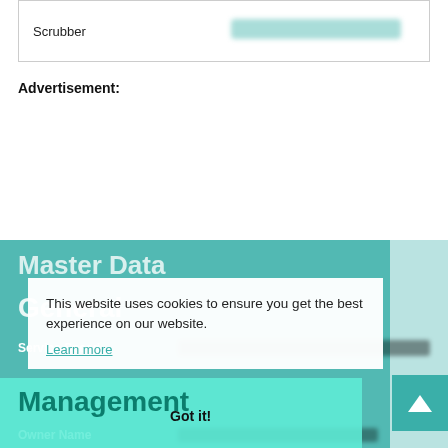|  |  |
| --- | --- |
| Scrubber | [redacted] |
Advertisement:
Master Data
General
Service Speed
This website uses cookies to ensure you get the best experience on our website. Learn more
Management
Got it!
Owner Name